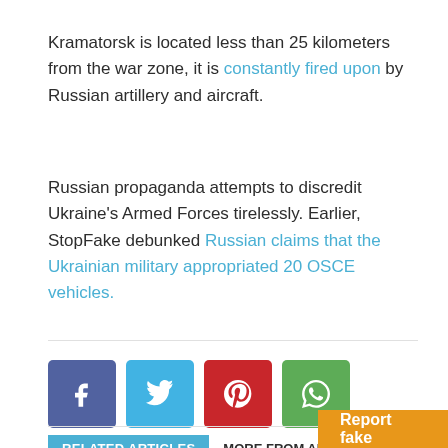Kramatorsk is located less than 25 kilometers from the war zone, it is constantly fired upon by Russian artillery and aircraft.
Russian propaganda attempts to discredit Ukraine's Armed Forces tirelessly. Earlier, StopFake debunked Russian claims that the Ukrainian military appropriated 20 OSCE vehicles.
[Figure (other): Social sharing buttons: Facebook (blue-purple), Twitter (light blue), Pinterest (red), WhatsApp (green)]
RELATED ARTICLES   MORE FROM AUTHOR
Report fake